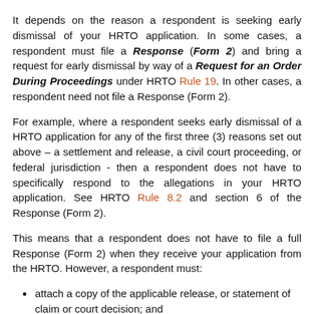It depends on the reason a respondent is seeking early dismissal of your HRTO application. In some cases, a respondent must file a Response (Form 2) and bring a request for early dismissal by way of a Request for an Order During Proceedings under HRTO Rule 19. In other cases, a respondent need not file a Response (Form 2).
For example, where a respondent seeks early dismissal of a HRTO application for any of the first three (3) reasons set out above – a settlement and release, a civil court proceeding, or federal jurisdiction - then a respondent does not have to specifically respond to the allegations in your HRTO application. See HRTO Rule 8.2 and section 6 of the Response (Form 2).
This means that a respondent does not have to file a full Response (Form 2) when they receive your application from the HRTO. However, a respondent must:
attach a copy of the applicable release, or statement of claim or court decision; and